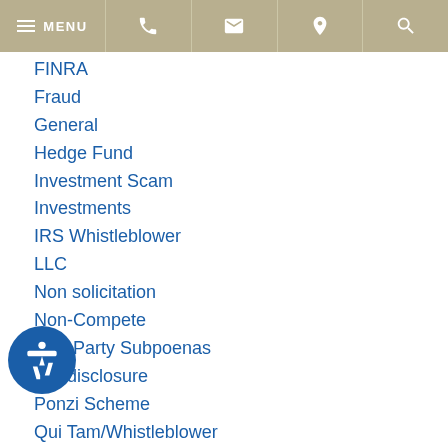MENU [phone] [email] [location] [search]
FINRA
Fraud
General
Hedge Fund
Investment Scam
Investments
IRS Whistleblower
LLC
Non solicitation
Non-Compete
Non-Party Subpoenas
Nondisclosure
Ponzi Scheme
Qui Tam/Whistleblower
Receiverships
te Testimony
SEC Whistleblower
Securities Arbitration
Suitability